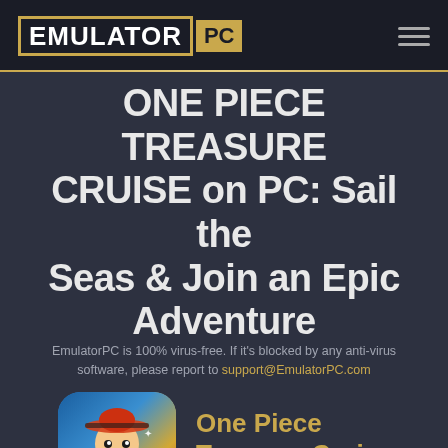EMULATOR PC
ONE PIECE TREASURE CRUISE on PC: Sail the Seas & Join an Epic Adventure
EmulatorPC is 100% virus-free. If it's blocked by any anti-virus software, please report to support@EmulatorPC.com
[Figure (illustration): One Piece Treasure Cruise app icon showing Monkey D. Luffy in straw hat with treasure coins on colorful background]
One Piece Treasure Cruise